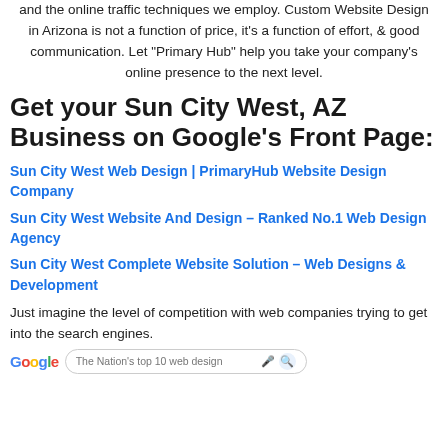and the online traffic techniques we employ. Custom Website Design in Arizona is not a function of price, it’s a function of effort, & good communication. Let “Primary Hub” help you take your company’s online presence to the next level.
Get your Sun City West, AZ Business on Google’s Front Page:
Sun City West Web Design | PrimaryHub Website Design Company
Sun City West Website And Design – Ranked No.1 Web Design Agency
Sun City West Complete Website Solution – Web Designs & Development
Just imagine the level of competition with web companies trying to get into the search engines.
[Figure (screenshot): Google search bar showing the query 'The Nation’s top 10 web design' with microphone and search icons]